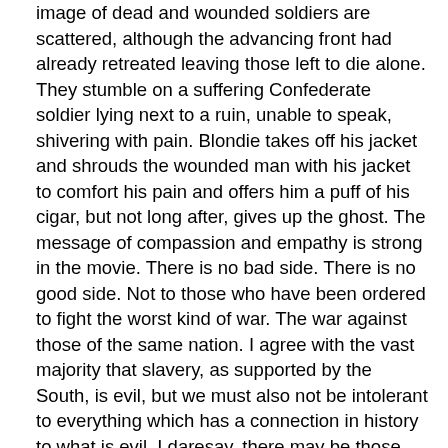image of dead and wounded soldiers are scattered, although the advancing front had already retreated leaving those left to die alone. They stumble on a suffering Confederate soldier lying next to a ruin, unable to speak, shivering with pain. Blondie takes off his jacket and shrouds the wounded man with his jacket to comfort his pain and offers him a puff of his cigar, but not long after, gives up the ghost. The message of compassion and empathy is strong in the movie. There is no bad side. There is no good side. Not to those who have been ordered to fight the worst kind of war. The war against those of the same nation. I agree with the vast majority that slavery, as supported by the South, is evil, but we must also not be intolerant to everything which has a connection in history to what is evil. I daresay, there may be those who would look down on the dying Confederate soldier with glee admonishing him for his part in protecting a regime that supported slavery. In today’s world of social media dichotomous thinking, there are many who would treat, with intolerance and contempt, anyone with a connection of a cause, a figurehead, or act which they do not agree with. Even if the connection is unavoidable or hereditary. This is not the only movie